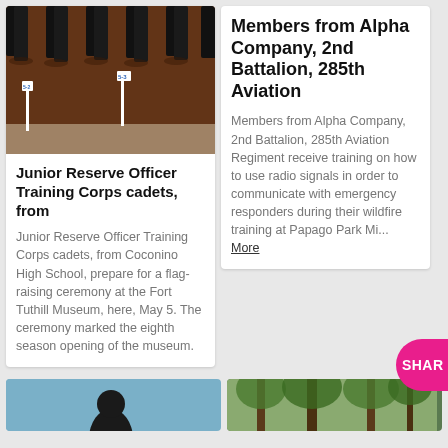[Figure (photo): Outdoor photo showing military boots and legs standing on mulched ground with small numbered markers (5-2, 5-3 visible), taken from above at an angle]
Junior Reserve Officer Training Corps cadets, from
Junior Reserve Officer Training Corps cadets, from Coconino High School, prepare for a flag-raising ceremony at the Fort Tuthill Museum, here, May 5. The ceremony marked the eighth season opening of the museum.
Members from Alpha Company, 2nd Battalion, 285th Aviation
Members from Alpha Company, 2nd Battalion, 285th Aviation Regiment receive training on how to use radio signals in order to communicate with emergency responders during their wildfire training at Papago Park Mi... More
[Figure (photo): Partial view of a person silhouette against a blue sky, bottom of the page, left column]
[Figure (photo): Partial view of trees and outdoor scene, bottom of the page, right column]